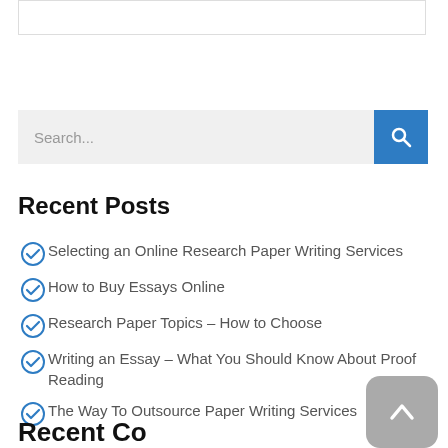[Figure (other): White box with border at top of page]
[Figure (other): Search bar with gray input field showing 'Search...' placeholder and blue search button with magnifying glass icon]
Recent Posts
Selecting an Online Research Paper Writing Services
How to Buy Essays Online
Research Paper Topics – How to Choose
Writing an Essay – What You Should Know About Proof Reading
The Way To Outsource Paper Writing Services
Recent Comments